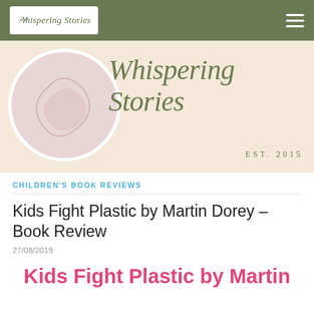Whispering Stories — navigation bar with logo and hamburger menu
[Figure (illustration): Whispering Stories blog banner with cursive logo text 'Whispering Stories', circular decorative image on the left, and 'EST. 2015' text, on a light cream/peach background with olive green color scheme.]
CHILDREN'S BOOK REVIEWS
Kids Fight Plastic by Martin Dorey – Book Review
27/08/2019
Kids Fight Plastic by Martin